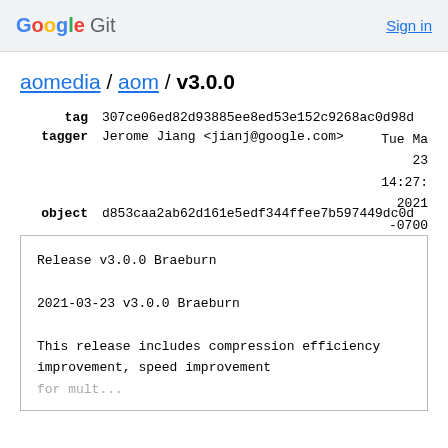Google Git  Sign in
aomedia / aom / v3.0.0
tag  307ce06ed82d93885ee8ed53e152c9268ac0d98d
tagger  Jerome Jiang <jianj@google.com>   Tue Ma 23 14:27: 2021 -0700
object  d853caa2ab62d161e5edf344ffee7b597449dc0d
Release v3.0.0 Braeburn

2021-03-23 v3.0.0 Braeburn

This release includes compression efficiency improvement, speed improvement
for mult...